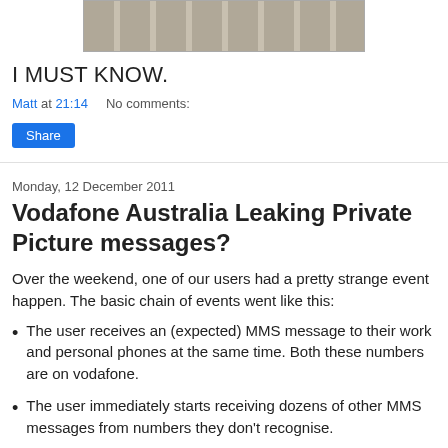[Figure (photo): Partial image of a keyboard, cropped at the top of the page]
I MUST KNOW.
Matt at 21:14   No comments:
Share
Monday, 12 December 2011
Vodafone Australia Leaking Private Picture messages?
Over the weekend, one of our users had a pretty strange event happen. The basic chain of events went like this:
The user receives an (expected) MMS message to their work and personal phones at the same time. Both these numbers are on vodafone.
The user immediately starts receiving dozens of other MMS messages from numbers they don't recognise.